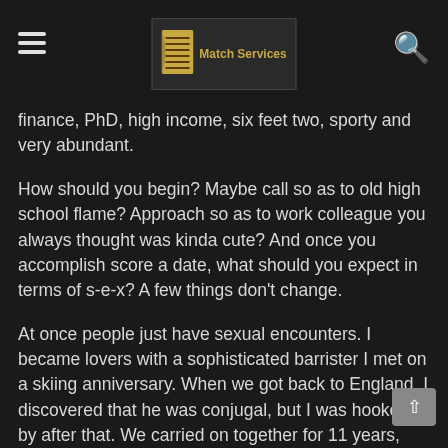Match Services
finance, PhD, high income, six feet two, sporty and very abundant.
How should you begin? Maybe call so as to old high school flame? Approach so as to work colleague you always thought was kinda cute? And once you accomplish score a date, what should you expect in terms of s-e-x? A few things don't change.
At once people just have sexual encounters. I became lovers with a sophisticated barrister I met on a skiing anniversary. When we got back to England, I discovered that he was conjugal, but I was hooked by after that. We carried on together for 11 years, and by the time it ended, it was too late. Our relationship ruined my life, because denial one else came up to can you repeat that? he meant to me. Why